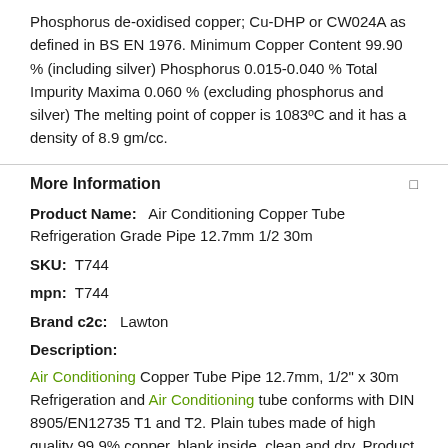Phosphorus de-oxidised copper; Cu-DHP or CW024A as defined in BS EN 1976. Minimum Copper Content 99.90 % (including silver) Phosphorus 0.015-0.040 % Total Impurity Maxima 0.060 % (excluding phosphorus and silver) The melting point of copper is 1083ºC and it has a density of 8.9 gm/cc.
More Information
Product Name: Air Conditioning Copper Tube Refrigeration Grade Pipe 12.7mm 1/2 30m
SKU: T744
mpn: T744
Brand c2c: Lawton
Description:
Air Conditioning Copper Tube Pipe 12.7mm, 1/2" x 30m Refrigeration and Air Conditioning tube conforms with DIN 8905/EN12735 T1 and T2. Plain tubes made of high quality 99.9% copper, blank inside, clean and dry. Product facts: Special tube for air conditioning and refrigeration. Complies with industry standards. Various delivery forms. Sealed after the cleaning process. Bright, clean and dry internal surface.